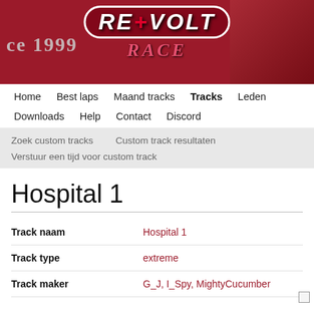[Figure (screenshot): Re-Volt Race website header banner with dark red background, 'RE-VOLT RACE' logo in center, and partial text 'ce 1999' on left]
Home   Best laps   Maand tracks   Tracks   Leden   Downloads   Help   Contact   Discord
Zoek custom tracks   Custom track resultaten
Verstuur een tijd voor custom track
Hospital 1
| Track naam | Hospital 1 |
| Track type | extreme |
| Track maker | G_J, I_Spy, MightyCucumber |